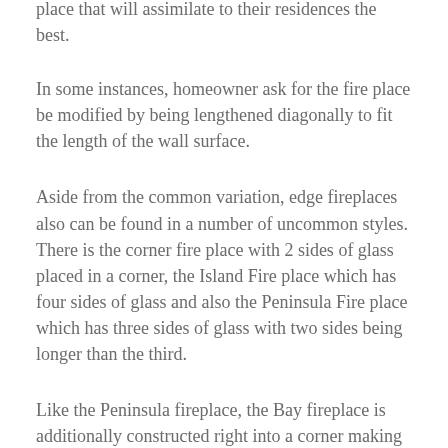place that will assimilate to their residences the best.
In some instances, homeowner ask for the fire place be modified by being lengthened diagonally to fit the length of the wall surface.
Aside from the common variation, edge fireplaces also can be found in a number of uncommon styles. There is the corner fire place with 2 sides of glass placed in a corner, the Island Fire place which has four sides of glass and also the Peninsula Fire place which has three sides of glass with two sides being longer than the third.
Like the Peninsula fireplace, the Bay fireplace is additionally constructed right into a corner making use of 3 sides of glass. The difference between them lies in the differing sizes of glass made use of in their building. The Peninsula design has 2 glass sides that are longer than